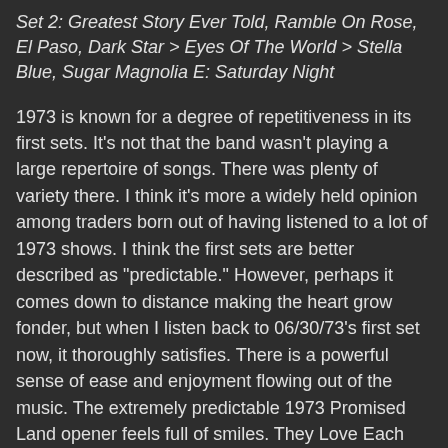Set 2: Greatest Story Ever Told, Ramble On Rose, El Paso, Dark Star > Eyes Of The World > Stella Blue, Sugar Magnolia E: Saturday Night
1973 is known for a degree of repetitiveness in its first sets. It's not that the band wasn't playing a large repertoire of songs. There was plenty of variety there. I think it's more a widely held opinion among traders born out of having listened to a lot of 1973 shows. I think the first sets are better described as "predictable." However, perhaps it comes down to distance making the heart grow fonder, but when I listen back to 06/30/73's first set now, it thoroughly satisfies. There is a powerful sense of ease and enjoyment flowing out of the music. The extremely predictable 1973 Promised Land opener feels full of smiles. They Love Each Other swings, and I have found myself unable to shake rolling the car windows down and playing this tune at full blast on recent summer days. It sets the air alight with dancing energy, and only grows as it goes. Jerry's solo tumbles out, bobbing and weaving as if it were shaking its hair and stomping its feet. Just as we're sure it's over, he takes it around the track again lifting the energy all the more. The sound quality of this